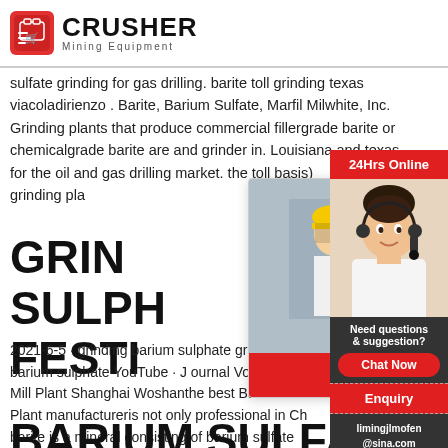CRUSHER Mining Equipment
sulfate grinding for gas drilling. barite toll grinding texas viacoladirienzo . Barite, Barium Sulfate, Marfil Milwhite, Inc. Grinding plants that produce commercial fillergrade barite or chemicalgrade barite are and grinder in. Louisiana and texas for the oil and gas drilling market. the toll basis) grinding pla
GRIND SULPH FESTI
[Figure (screenshot): Live chat popup overlay with construction workers in background, LIVE CHAT heading in red italic, 'Click for a Free Consultation' subtitle, Chat now (red) and Chat later (dark) buttons]
[Figure (photo): Customer service woman with headset on right sidebar, with 24Hrs Online banner, Need questions & suggestion section, Chat Now button, Enquiry section, limingjlmofen@sina.com email]
2021-6-5 · grinding barium sulphate grinding p barium sulphate YouTube · J ournal Vol 83 Barit Mill Plant Shanghai Woshanthe best Barite Grin Plant manufactureris not only professional in Ch barite is a mineral consisting of barium sulfate
BARIUM SULFATE GRIN